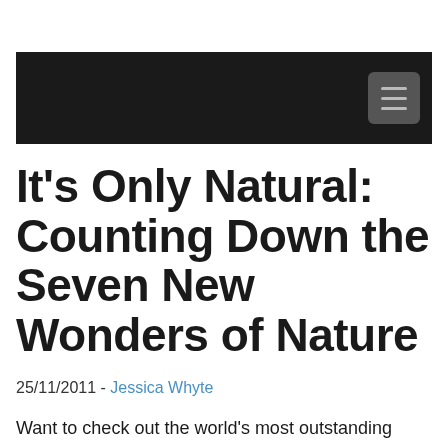It's Only Natural: Counting Down the Seven New Wonders of Nature
25/11/2011 - Jessica Whyte
Want to check out the world's most outstanding natural wonders on your gap year? Have you heard of the global 7 wonders sensation currently sweeping the internet? A recent project is gathering together millions of votes from all across the globe to come up with the top seven